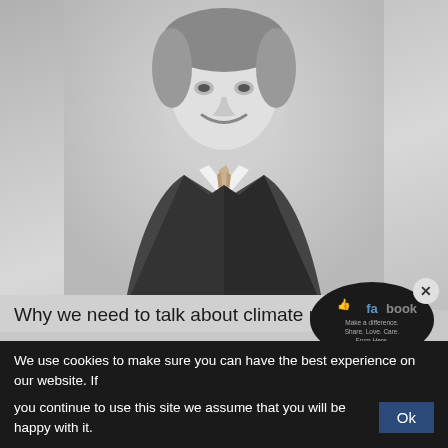[Figure (photo): Black and white portrait photo of a man in a suit and tie, smiling, on a grey background]
Why we need to talk about climate migrants
To say that we are at a critical phase in international e... cut greenhouse gas emissions and limit warming... as mandated by the Paris Agreement, is a major... understatement given the increased engagement... targets, renewed commitments and transforma... policy setting around the globe. The almost pa...
[Figure (illustration): Facebook social media sticker/badge overlay with 'I Love' heart and Facebook branding with 'Make a difference. Share. Love. Care. From Here.']
We use cookies to make sure you can have the best experience on our website. If you continue to use this site we assume that you will be happy with it. Ok